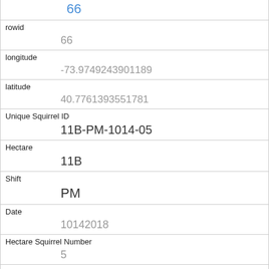| 66 (rowid link) |
| rowid | 66 |
| longitude | -73.9749243901189 |
| latitude | 40.7761393551781 |
| Unique Squirrel ID | 11B-PM-1014-05 |
| Hectare | 11B |
| Shift | PM |
| Date | 10142018 |
| Hectare Squirrel Number | 5 |
| Age | Adult |
| Primary Fur Color |  |